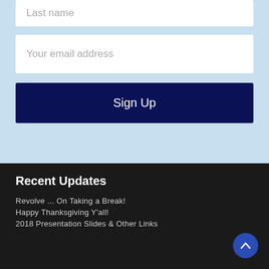Last name
Your email address
Sign Up
Recent Updates
Revolve ... On Taking a Break!
Happy Thanksgiving Y'all!
2018 Presentation Slides & Other Links